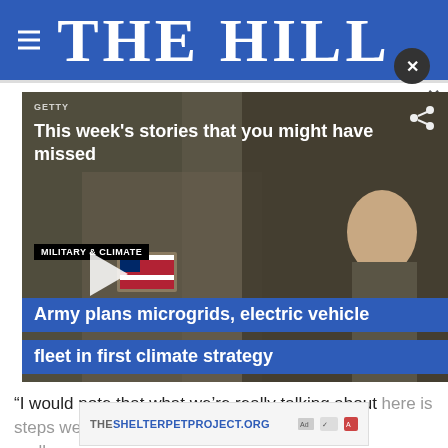THE HILL
[Figure (screenshot): Video thumbnail showing soldiers in military fatigues with US flag patch. Overlaid text: 'This week's stories that you might have missed'. Tag: MILITARY & CLIMATE. Play button visible. Caption: 'Army plans microgrids, electric vehicle fleet in first climate strategy']
“I would note that what we’re really talking about here is steps we’re taking as a federal government to really ... ng tens of ... y
[Figure (screenshot): Ad banner: THESHELTERPETPROJECT.ORG with ad icons]